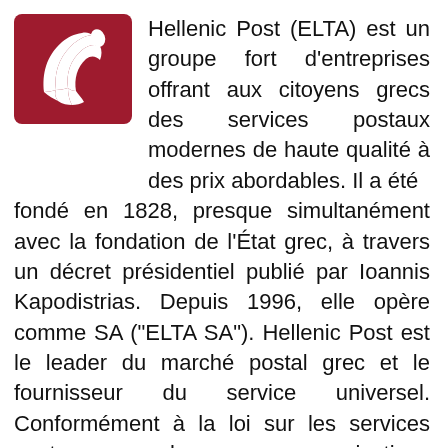[Figure (logo): Hellenic Post (ELTA) logo — dark red/crimson square with white stylized bird/Hermes wing emblem]
Hellenic Post (ELTA) est un groupe fort d'entreprises offrant aux citoyens grecs des services postaux modernes de haute qualité à des prix abordables. Il a été fondé en 1828, presque simultanément avec la fondation de l'État grec, à travers un décret présidentiel publié par Ioannis Kapodistrias. Depuis 1996, elle opère comme SA ("ELTA SA"). Hellenic Post est le leader du marché postal grec et le fournisseur du service universel. Conformément à la loi sur les services postaux, les communications électroniques et d'autres dispositions, Hellenic Post s'engage à fournir des services universels pour une période de 15 ans (jusqu'au 31/12/2028). Cela signifie que nous offrons des services de haute qualité à des prix abordables à tous les citoyens et entreprises dans toutes les régions de la Grèce. Nous livrons ce service universel via le plus grand réseau de vente au détail de Grèce avec